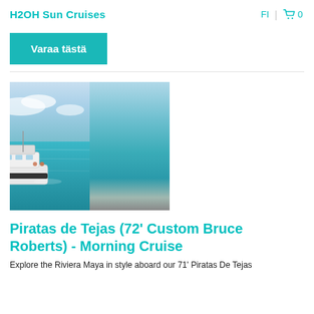H2OH Sun Cruises  FI  0
Varaa tästä
[Figure (photo): Aerial photograph of a white motor yacht cruising on turquoise Caribbean sea water with blue sky and clouds in the background.]
Piratas de Tejas (72' Custom Bruce Roberts) - Morning Cruise
Explore the Riviera Maya in style aboard our 71' Piratas De Tejas